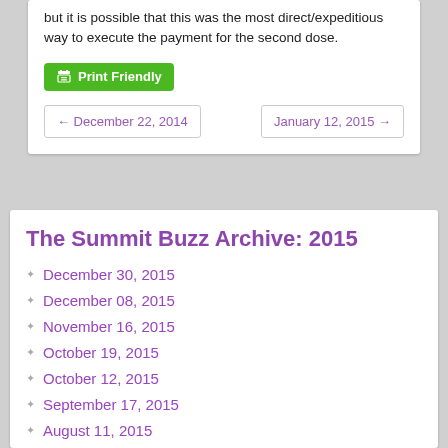but it is possible that this was the most direct/expeditious way to execute the payment for the second dose.
Print Friendly
← December 22, 2014
January 12, 2015 →
The Summit Buzz Archive: 2015
December 30, 2015
December 08, 2015
November 16, 2015
October 19, 2015
October 12, 2015
September 17, 2015
August 11, 2015